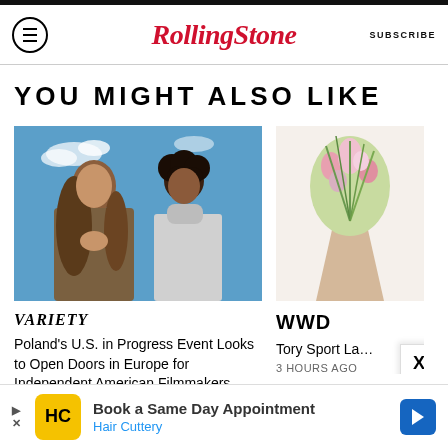RollingStone — SUBSCRIBE
YOU MIGHT ALSO LIKE
[Figure (photo): Two young people outdoors under a blue sky — one with long brown hair, one with curly dark hair wearing a white turtleneck]
VARIETY — Poland's U.S. in Progress Event Looks to Open Doors in Europe for Independent American Filmmakers
[Figure (photo): Floral bouquet in a cone-shaped vase against a light background]
WWD — Tory Sport La… 3 HOURS AGO
[Figure (infographic): Advertisement: Book a Same Day Appointment – Hair Cuttery]